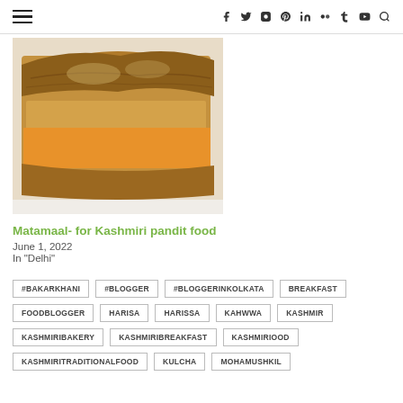≡  f  twitter  instagram  pinterest  linkedin  flickr  tumblr  youtube  search
[Figure (photo): Photo of Kashmiri food - fried pastry/bread item on a white plate, golden-brown color]
Matamaal- for Kashmiri pandit food
June 1, 2022
In "Delhi"
#BAKARKHANI
#BLOGGER
#BLOGGERINKOLKATA
BREAKFAST
FOODBLOGGER
HARISA
HARISSA
KAHWWA
KASHMIR
KASHMIRIBAKERY
KASHMIRIBREAKFAST
KASHMIRIOOD
KASHMIRITRADITIONALFOOD
KULCHA
MOHAMUSHKIL